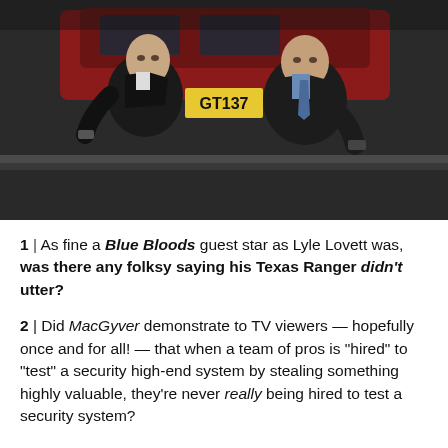[Figure (photo): Two men crouching behind a car on a street. The man on the left wears a dark jacket and holds a gun. The man on the right wears a dark suit with a blue tie and holds a gun. A car with a yellow license plate reading GT137 is visible in the background.]
1 | As fine a Blue Bloods guest star as Lyle Lovett was, was there any folksy saying his Texas Ranger didn't utter?
2 | Did MacGyver demonstrate to TV viewers — hopefully once and for all! — that when a team of pros is "hired" to "test" a security high-end system by stealing something highly valuable, they're never really being hired to test a security system?